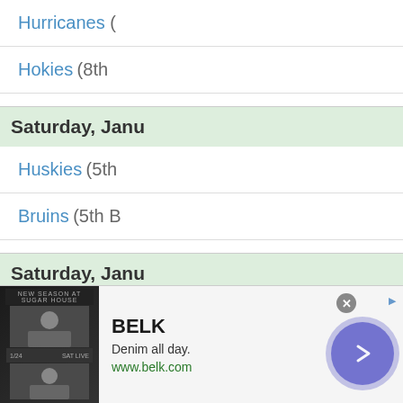Hurricanes (
Hokies (8th
Saturday, Janu
Huskies (5th
Bruins (5th B
Saturday, Janu
Bonnies (3ro
Wildcats (3n
Saturday, Janu
[Figure (screenshot): Advertisement banner for BELK showing denim clothing with navigation button]